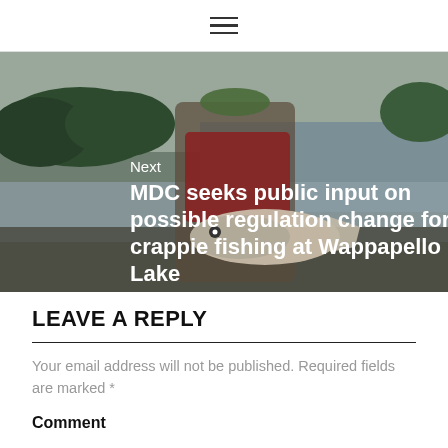≡
[Figure (photo): Person holding a crappie fish near a lake with trees and cloudy sky in background. Overlaid text reads: Next / MDC seeks public input on possible regulation change for crappie fishing at Wappapello Lake]
LEAVE A REPLY
Your email address will not be published. Required fields are marked *
Comment